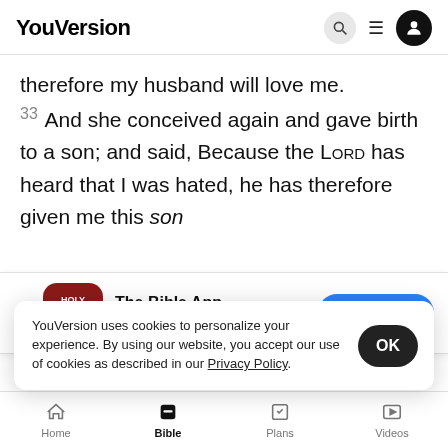YouVersion
therefore my husband will love me.
33 And she conceived again and gave birth to a son; and said, Because the LORD has heard that I was hated, he has therefore given me this son
[Figure (screenshot): App store download banner for The Bible App with 5-star rating 7.9M and Download button]
son, an
joined u
sons: therefore his name was called Levi
[Figure (screenshot): Cookie consent banner: YouVersion uses cookies to personalize your experience. By using our website, you accept our use of cookies as described in our Privacy Policy. OK button.]
Home  Bible  Plans  Videos